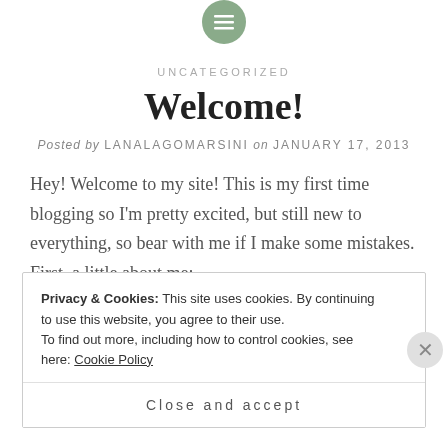[Figure (other): Small circular green icon with menu/list lines at the top center of the page]
UNCATEGORIZED
Welcome!
Posted by LANALAGOMARSINI on JANUARY 17, 2013
Hey! Welcome to my site! This is my first time blogging so I'm pretty excited, but still new to everything, so bear with me if I make some mistakes. First, a little about me:
Privacy & Cookies: This site uses cookies. By continuing to use this website, you agree to their use. To find out more, including how to control cookies, see here: Cookie Policy
Close and accept